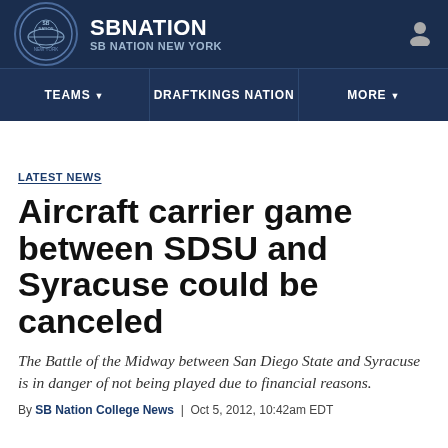SB NATION — SB NATION NEW YORK
LATEST NEWS
Aircraft carrier game between SDSU and Syracuse could be canceled
The Battle of the Midway between San Diego State and Syracuse is in danger of not being played due to financial reasons.
By SB Nation College News | Oct 5, 2012, 10:42am EDT